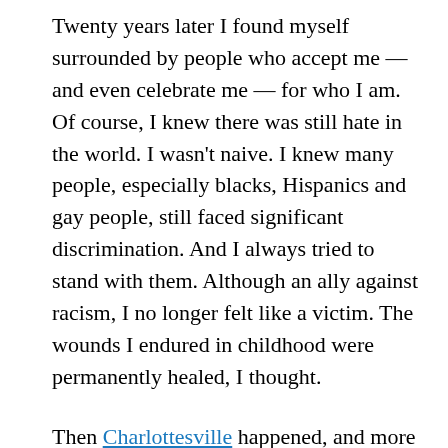Twenty years later I found myself surrounded by people who accept me — and even celebrate me — for who I am. Of course, I knew there was still hate in the world. I wasn't naive. I knew many people, especially blacks, Hispanics and gay people, still faced significant discrimination. And I always tried to stand with them. Although an ally against racism, I no longer felt like a victim. The wounds I endured in childhood were permanently healed, I thought.
Then Charlottesville happened, and more specifically, President Trump's response. Like most Americans, I was shocked and saddened by the events of Saturday. And I was stunned by